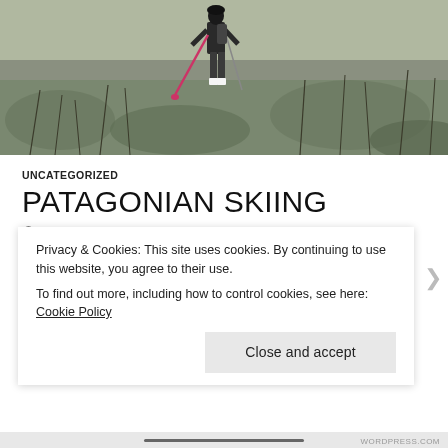[Figure (photo): Person with ski poles walking on a rocky hillside with sparse dry vegetation and trees in the background]
UNCATEGORIZED
PATAGONIAN SKIING
DECEMBER 10, 2014   LEAVE A COMMENT
The weather once again defeated our plans to ski in the hills round Torres. They looked like they had awesome terrain and a good...
Privacy & Cookies: This site uses cookies. By continuing to use this website, you agree to their use.
To find out more, including how to control cookies, see here: Cookie Policy
Close and accept